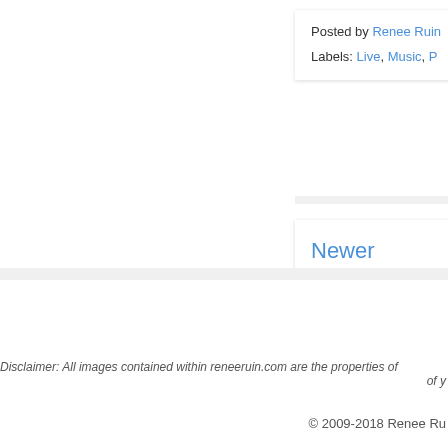Posted by Renee Ruin
Labels: Live, Music, P
Newer Posts
Disclaimer: All images contained within reneeruin.com are the properties of of y
© 2009-2018 Renee Ru